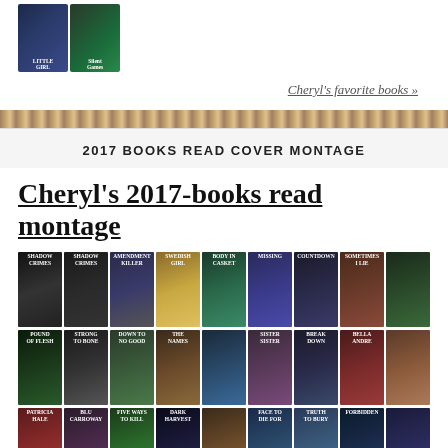[Figure (illustration): Two book covers shown side by side: 'Little Girl' and 'Silent Games']
Cheryl's favorite books »
2017 BOOKS READ COVER MONTAGE
Cheryl's 2017-books read montage
[Figure (illustration): A montage grid of book cover thumbnails from 2017, arranged in four rows showing numerous thriller and mystery novel covers including Shadow Crimes, Amendment Killer, The Swedish Girl, The Body in the Casket, Missing, Countdown, Sometimes I Lie, Pound of Flesh, Strong to the Bone, Down to No Good, The Names, Sister Sister, The Breakdown, Five Ways to Kill a Man, Dark Harvest, A Face to Die For, Forbidden, Truth to Bury, and more.]